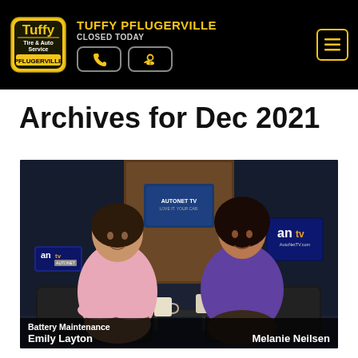TUFFY PFLUGERVILLE CLOSED TODAY
Archives for Dec 2021
[Figure (photo): Two women seated on black leather chairs in a TV studio. Left woman wears pink blouse (Emily Layton), right woman wears purple top (Melanie Neilsen). ANTV and AutoNetTV logos visible in background. Topic: Battery Maintenance.]
Battery Maintenance — Emily Layton | Melanie Neilsen